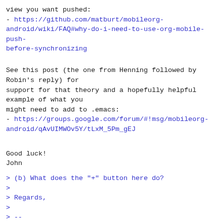view you want pushed:
- https://github.com/matburt/mobileorg-android/wiki/FAQ#why-do-i-need-to-use-org-mobile-push-before-synchronizing
See this post (the one from Henning followed by Robin's reply) for
support for that theory and a hopefully helpful example of what you
might need to add to .emacs:
- https://groups.google.com/forum/#!msg/mobileorg-android/qAvUIMWOv5Y/tLxM_5Pm_gEJ
Good luck!
John
> (b) What does the "+" button here do?
>
> Regards,
>
> --
> Marcin Borkowski
> http://octd.wmi.amu.edu.pl/en/Marcin_Borkowski
> Adam Mickiewicz University
>
^ permalink raw reply  [flat|nested] 32+ messages in thread